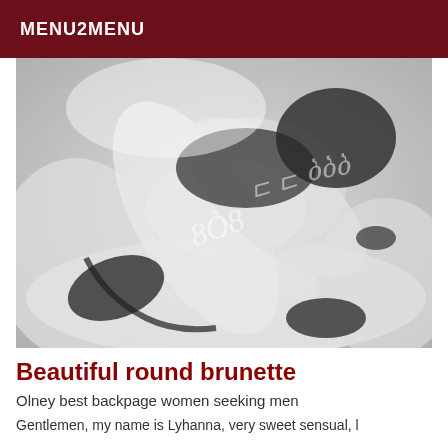MENU2MENU
[Figure (photo): Black and white photo of a woman lying on a white bed, wearing a black top and blindfold, with wrists bound, legs raised, wearing high heels. Watermark text overlaid on image.]
Beautiful round brunette
Olney best backpage women seeking men
Gentlemen, my name is Lyhanna, very sweet sensual, l